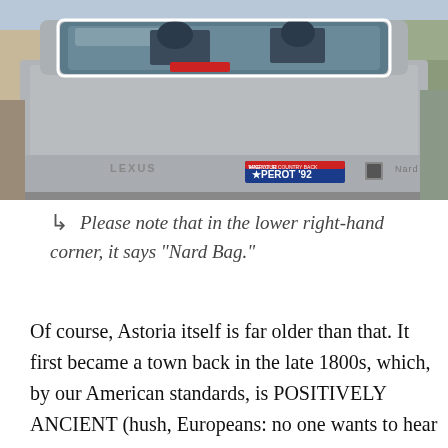[Figure (photo): Rear view of a silver Lexus car with a 'Perot 92' bumper sticker and a badge reading 'Nard Bag' in the lower right corner]
Please note that in the lower right-hand corner, it says "Nard Bag."
Of course, Astoria itself is far older than that. It first became a town back in the late 1800s, which, by our American standards, is POSITIVELY ANCIENT (hush, Europeans: no one wants to hear about how old your towns are/ancient they are).